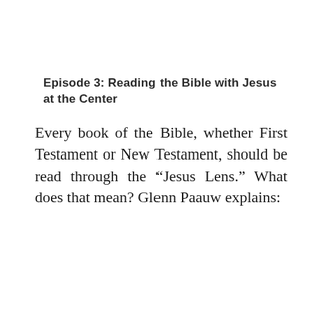Episode 3: Reading the Bible with Jesus at the Center
Every book of the Bible, whether First Testament or New Testament, should be read through the “Jesus Lens.” What does that mean? Glenn Paauw explains:
[Figure (screenshot): Video player screenshot with dark red progress/control bar and scripture text: 'In the past God spoke to our ancestors through the prophets at many times and in various ways, but in these last days he has spoken to us by his Son, whom he appointed heir of all things, and through whom also he made the universe.' A play button overlay is visible in the center.]